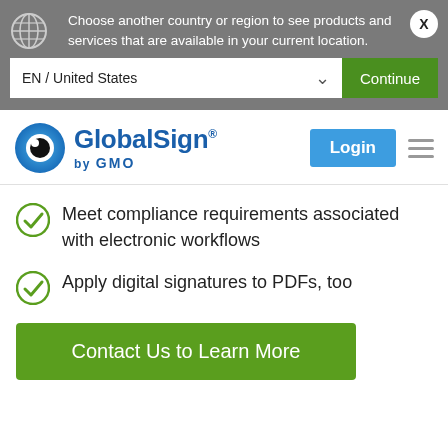Choose another country or region to see products and services that are available in your current location.
EN / United States
Continue
[Figure (logo): GlobalSign by GMO logo with blue eye icon]
Login
Meet compliance requirements associated with electronic workflows
Apply digital signatures to PDFs, too
Contact Us to Learn More